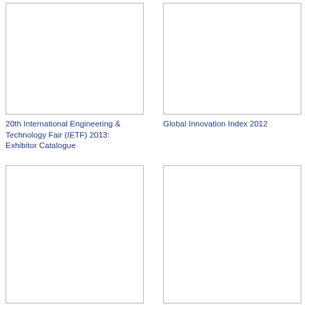[Figure (other): Blank white document thumbnail with border, top-left]
20th International Engineering & Technology Fair (IETF) 2013: Exhibitor Catalogue
[Figure (other): Blank white document thumbnail with border, top-right]
Global Innovation Index 2012
[Figure (other): Blank white document thumbnail with border, bottom-left]
[Figure (other): Blank white document thumbnail with border, bottom-right]